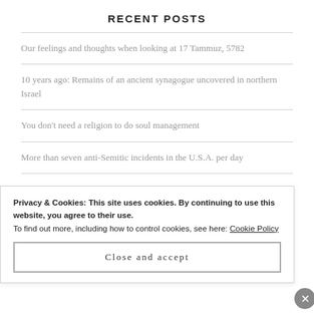RECENT POSTS
Our feelings and thoughts when looking at 17 Tammuz, 5782
10 years ago: Remains of an ancient synagogue uncovered in northern Israel
You don't need a religion to do soul management
More than seven anti-Semitic incidents in the U.S.A. per day
Privacy & Cookies: This site uses cookies. By continuing to use this website, you agree to their use.
To find out more, including how to control cookies, see here: Cookie Policy
Close and accept